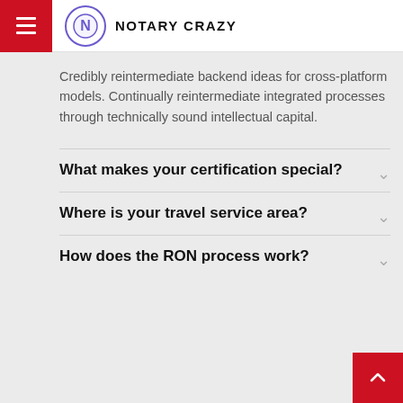NOTARY CRAZY
Credibly reintermediate backend ideas for cross-platform models. Continually reintermediate integrated processes through technically sound intellectual capital.
What makes your certification special?
Where is your travel service area?
How does the RON process work?